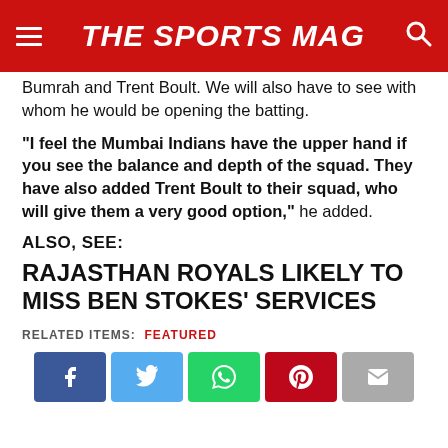THE SPORTS MAG
Bumrah and Trent Boult. We will also have to see with whom he would be opening the batting.
“I feel the Mumbai Indians have the upper hand if you see the balance and depth of the squad. They have also added Trent Boult to their squad, who will give them a very good option,” he added.
ALSO, SEE:
RAJASTHAN ROYALS LIKELY TO MISS BEN STOKES’ SERVICES
RELATED ITEMS: FEATURED
[Figure (other): Social media share buttons: Facebook, Twitter, WhatsApp, Pinterest, Email]